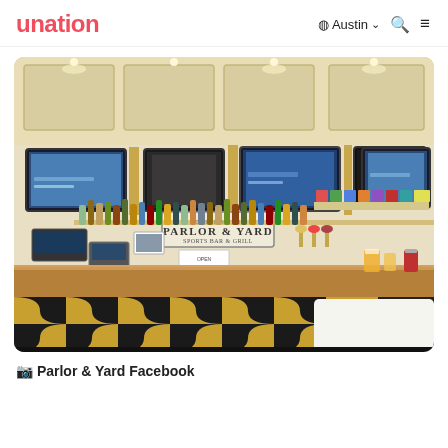unation   Austin   🔍   ≡
[Figure (photo): Interior photo of Parlor & Yard bar showing a long wooden bar counter with decorative black-and-gold patterned tile front, multiple television screens mounted above the back bar, a full array of liquor bottles, and a coffered ceiling with track lighting.]
📷 Parlor & Yard Facebook